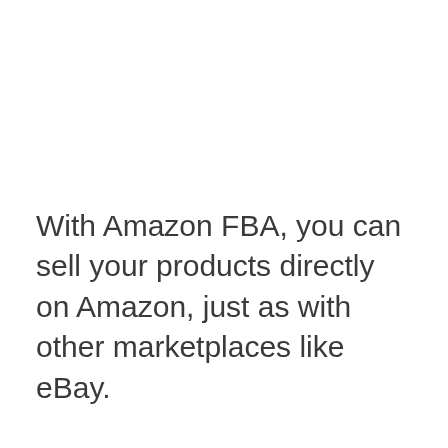With Amazon FBA, you can sell your products directly on Amazon, just as with other marketplaces like eBay.